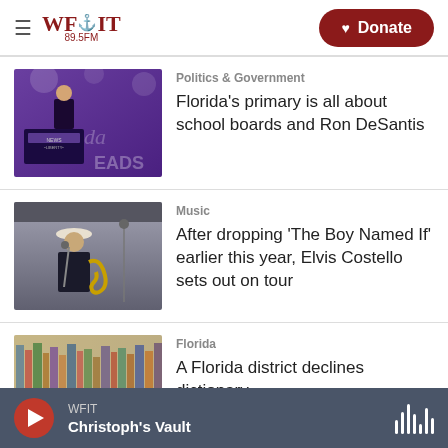WFIT 89.5FM — Donate
[Figure (photo): Man in dark suit gesturing at podium on stage with purple background and text 'LEADS']
Politics & Government
Florida's primary is all about school boards and Ron DeSantis
[Figure (photo): Elvis Costello performing on stage with white hat, microphone, and saxophone]
Music
After dropping 'The Boy Named If' earlier this year, Elvis Costello sets out on tour
[Figure (photo): Blurred books on library shelves]
Florida
A Florida district declines dictionary
WFIT — Christoph's Vault